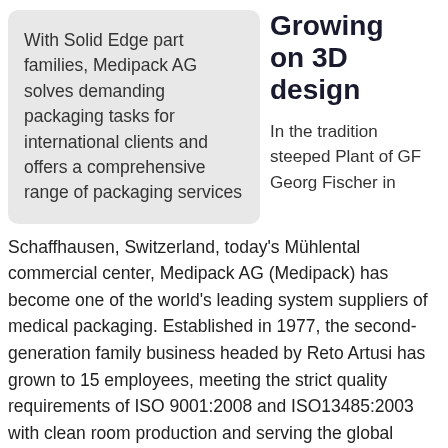With Solid Edge part families, Medipack AG solves demanding packaging tasks for international clients and offers a comprehensive range of packaging services
Growing on 3D design
In the tradition steeped Plant of GF Georg Fischer in
Schaffhausen, Switzerland, today's Mühlental commercial center, Medipack AG (Medipack) has become one of the world's leading system suppliers of medical packaging. Established in 1977, the second-generation family business headed by Reto Artusi has grown to 15 employees, meeting the strict quality requirements of ISO 9001:2008 and ISO13485:2003 with clean room production and serving the global market as one of the foremost for more than three decades 2003 when